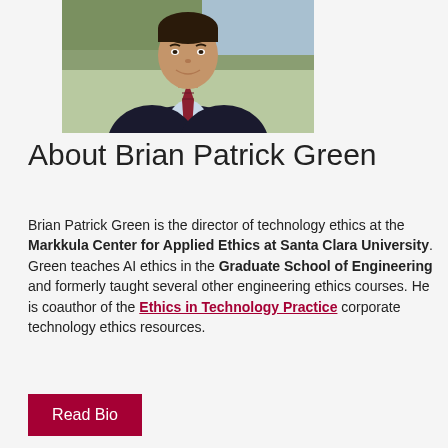[Figure (photo): Professional headshot of Brian Patrick Green, a man in a dark suit with a red patterned tie and light blue dress shirt, smiling, outdoors with blurred background]
About Brian Patrick Green
Brian Patrick Green is the director of technology ethics at the Markkula Center for Applied Ethics at Santa Clara University. Green teaches AI ethics in the Graduate School of Engineering and formerly taught several other engineering ethics courses. He is coauthor of the Ethics in Technology Practice corporate technology ethics resources.
Read Bio